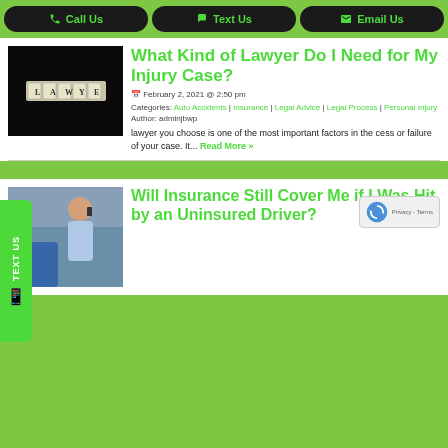Call Us | Text Us | Email Us
[Figure (photo): Scrabble tiles spelling LAWYER on dark background]
What Kind of Lawyer Do I Need for My Injury Case?
February 2, 2021 @ 2:50 pm
Categories: Auto Accidents | Insurance | Legal Advice | Legal Process | Personal Injury
Author: adminjbwp
lawyer you choose is one of the most important factors in the cess or failure of your case. It... Read More »
[Figure (photo): Man on phone at car accident scene]
Will Insurance Still Cover Me if I Was Hit by an Uninsured Driver?